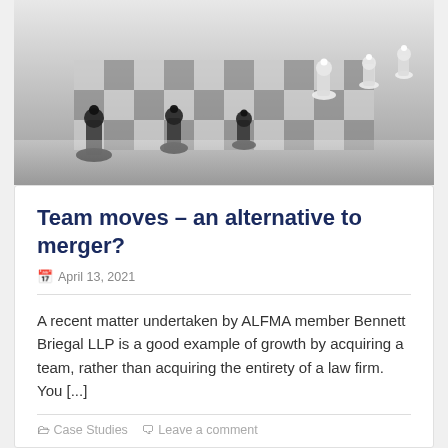[Figure (photo): Black and white photograph of a chess board with black and white chess pieces, shot from a low angle perspective]
Team moves – an alternative to merger?
April 13, 2021
A recent matter undertaken by ALFMA member Bennett Briegal LLP is a good example of growth by acquiring a team, rather than acquiring the entirety of a law firm.  You [...]
Case Studies   Leave a comment